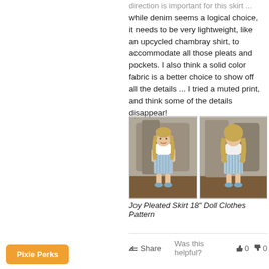direction is important for this skirt ... while denim seems a logical choice, it needs to be very lightweight, like an upcycled chambray shirt, to accommodate all those pleats and pockets. I also think a solid color fabric is a better choice to show off all the details ... I tried a muted print, and think some of the details disappear!
[Figure (photo): Two side-by-side photos of an 18-inch doll wearing a white top and light blue pleated skirt with pockets, shown from the front and back, outdoors near a stone surface.]
Joy Pleated Skirt 18" Doll Clothes Pattern
Share   Was this helpful?  👍 0  👎 0
Pixie Perks